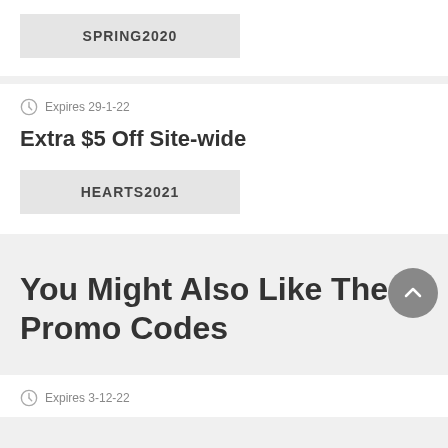SPRING2020
Expires 29-1-22
Extra $5 Off Site-wide
HEARTS2021
You Might Also Like These Promo Codes
Expires 3-12-22